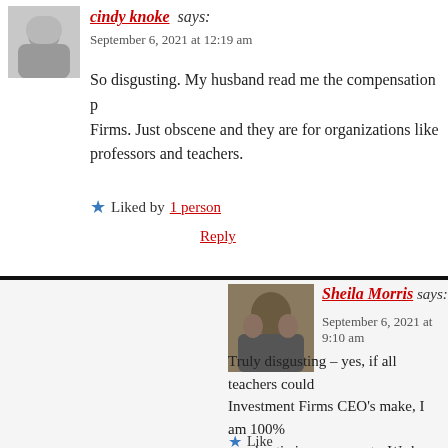[Figure (photo): Avatar photo of Cindy Knoke, woman in white top]
cindy knoke says:
September 6, 2021 at 12:19 am
So disgusting. My husband read me the compensation p... Firms. Just obscene and they are for organizations like ... professors and teachers.
★ Liked by 1 person
Reply
[Figure (photo): Avatar photo of Sheila Morris, person holding a cat]
Sheila Morris says:
September 6, 2021 at 9:10 am
Truly disgusting – yes, if all teachers could... Investment Firms CEO's make, I am 100%... see drastic improvements. We have put the... on so many levels, Cindy. Thank you for yo...
★ Like